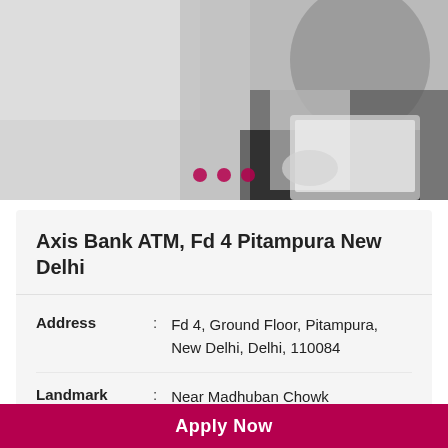[Figure (photo): Black and white photo of a person (partially visible) using a laptop, with three pink/maroon dots as carousel indicators at the bottom]
Axis Bank ATM, Fd 4 Pitampura New Delhi
| Address | : | Fd 4, Ground Floor, Pitampura, New Delhi, Delhi, 110084 |
| Landmark | : | Near Madhuban Chowk |
| Hours | : | Open 24 hours |
Apply Now